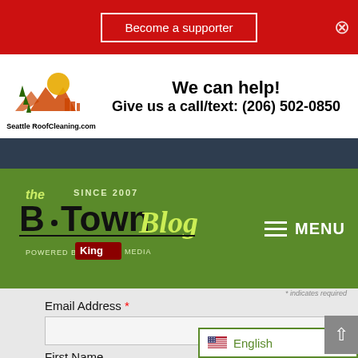[Figure (screenshot): Red banner with 'Become a supporter' button and close X button]
[Figure (screenshot): Seattle Roof Cleaning advertisement banner with logo, 'We can help! Give us a call/text: (206) 502-0850']
[Figure (screenshot): Dark navigation bar]
[Figure (screenshot): B-Town Blog header with green background, logo 'the B·Town Blog Since 2007 Powered by King Media', and MENU hamburger icon]
* indicates required
Email Address *
First Name
Last Name *
[Figure (screenshot): English language selector dropdown with US flag]